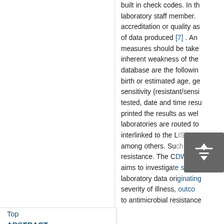built in check codes. In the laboratory staff member. accreditation or quality as of data produced [7] . An measures should be taken inherent weakness of the database are the following birth or estimated age, ge sensitivity (resistant/sensi tested, date and time resu printed the results as wel laboratories are routed to interlinked to the LIS among others. Su resistance. The CDW co aims to investigate spe laboratory data originating severity of illness, outcome to antimicrobial resistance
Top
ABSTRACT
Introduction
General Description of LIS Components and Function
Variation in LIS
Data Security System
Data Quality